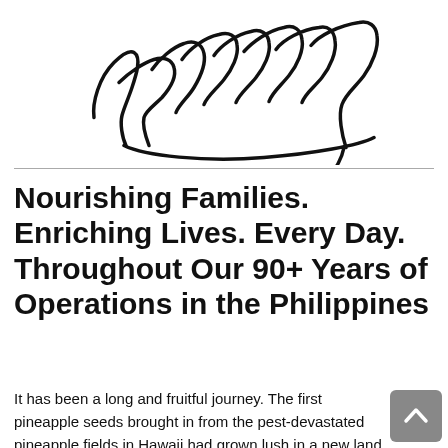[Figure (logo): Cursive/handwritten script logo reading 'Philippines']
Nourishing Families. Enriching Lives. Every Day. Throughout Our 90+ Years of Operations in the Philippines
It has been a long and fruitful journey. The first pineapple seeds brought in from the pest-devastated pineapple fields in Hawaii had grown lush in a new land. Our American and Filipino pioneers worked side by side to